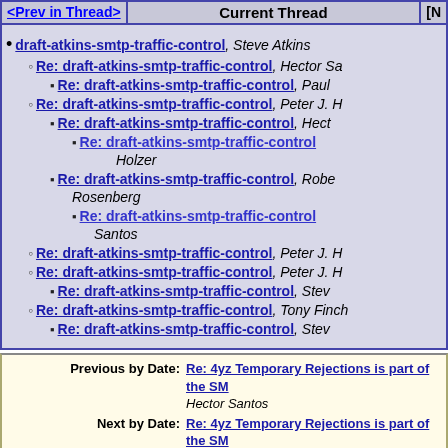<Prev in Thread> | Current Thread | [N...
draft-atkins-smtp-traffic-control, Steve Atkins
Re: draft-atkins-smtp-traffic-control, Hector Sa...
Re: draft-atkins-smtp-traffic-control, Paul...
Re: draft-atkins-smtp-traffic-control, Peter J. H...
Re: draft-atkins-smtp-traffic-control, Hect...
Re: draft-atkins-smtp-traffic-control (Holzer)
Re: draft-atkins-smtp-traffic-control, Rob... Rosenberg
Re: draft-atkins-smtp-traffic-control... Santos
Re: draft-atkins-smtp-traffic-control, Peter J. H...
Re: draft-atkins-smtp-traffic-control, Peter J. H...
Re: draft-atkins-smtp-traffic-control, Stev...
Re: draft-atkins-smtp-traffic-control, Tony Finch...
Re: draft-atkins-smtp-traffic-control, Stev...
Previous by Date: Re: 4yz Temporary Rejections is part of the SM... Hector Santos
Next by Date: Re: 4yz Temporary Rejections is part of the SM... Paul Smith
Previous by Thread: Re: draft-atkins-smtp-traffic-control, Hector Sa...
Next by Thread: Re: draft-atkins-smtp-traffic-control, Peter J. H...
Indexes: [Date] [Thread] [Top] [All Lists]